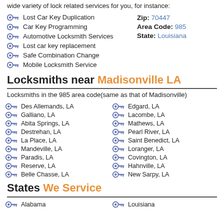wide variety of lock related services for you, for instance:
Lost Car Key Duplication
Car Key Programming
Automotive Locksmith Services
Lost car key replacement
Safe Combination Change
Mobile Locksmith Service
Zip: 70447
Area Code: 985
State: Louisiana
Locksmiths near Madisonville LA
Locksmiths in the 985 area code(same as that of Madisonville)
Des Allemands, LA
Galliano, LA
Abita Springs, LA
Destrehan, LA
La Place, LA
Mandeville, LA
Paradis, LA
Reserve, LA
Belle Chasse, LA
Edgard, LA
Lacombe, LA
Mathews, LA
Pearl River, LA
Saint Benedict, LA
Loranger, LA
Covington, LA
Hahnville, LA
New Sarpy, LA
States We Service
Alabama
Louisiana